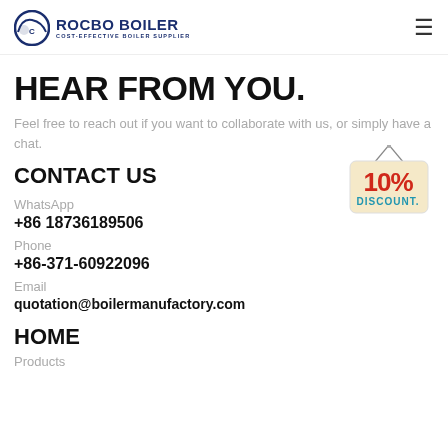ROCBO BOILER | COST-EFFECTIVE BOILER SUPPLIER
HEAR FROM YOU.
Feel free to reach out if you want to collaborate with us, or simply have a chat.
CONTACT US
[Figure (illustration): 10% DISCOUNT badge/sign hanging on a string]
WhatsApp
+86 18736189506
Phone
+86-371-60922096
Email
quotation@boilermanufactory.com
HOME
Products